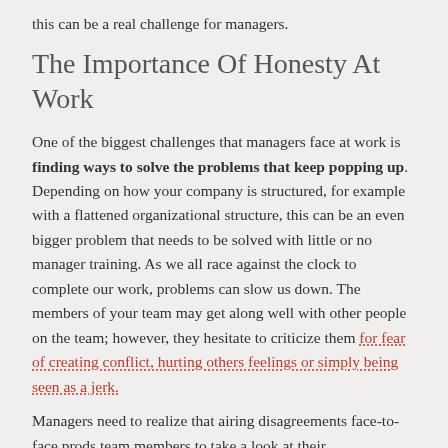this can be a real challenge for managers.
The Importance Of Honesty At Work
One of the biggest challenges that managers face at work is finding ways to solve the problems that keep popping up. Depending on how your company is structured, for example with a flattened organizational structure, this can be an even bigger problem that needs to be solved with little or no manager training. As we all race against the clock to complete our work, problems can slow us down. The members of your team may get along well with other people on the team; however, they hesitate to criticize them for fear of creating conflict, hurting others feelings or simply being seen as a jerk.
Managers need to realize that airing disagreements face-to-face prods team members to take a look at their